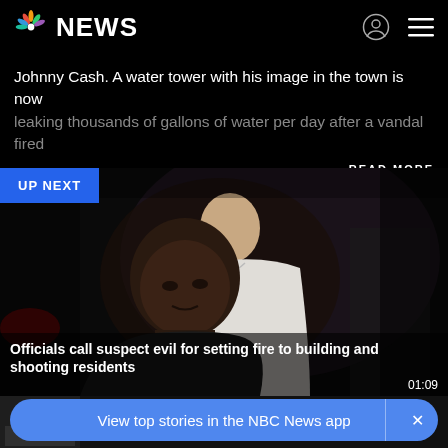NBC NEWS
Johnny Cash. A water tower with his image in the town is now leaking thousands of gallons of water per day after a vandal fired
READ MORE
UP NEXT
[Figure (photo): Two men, one in a white polo shirt and one in a dark shirt, standing in a dark setting, appearing to speak at a press conference or interview.]
Officials call suspect evil for setting fire to building and shooting residents
01:09
View top stories in the NBC News app